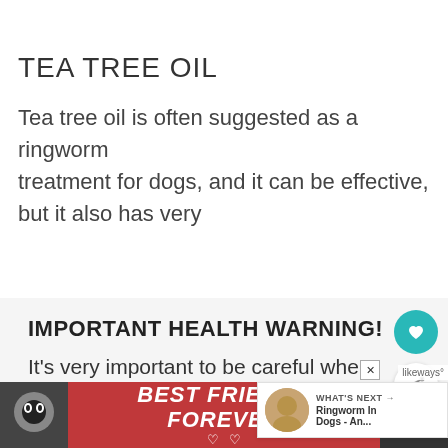TEA TREE OIL
Tea tree oil is often suggested as a ringworm treatment for dogs, and it can be effective, but it also has very
IMPORTANT HEALTH WARNING!
It's very important to be careful when using Tea Tree Oil as it can be toxic to dogs, and is very dangerous to cats and
[Figure (photo): Advertisement banner reading BEST FRIENDS FOREVER with cat photos on left and right, red background, white bold italic text with heart symbols]
[Figure (photo): What's Next overlay showing a dog photo thumbnail with text 'Ringworm In Dogs - An...']